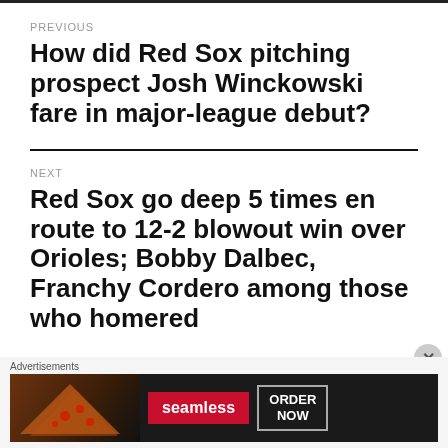PREVIOUS
How did Red Sox pitching prospect Josh Winckowski fare in major-league debut?
NEXT
Red Sox go deep 5 times en route to 12-2 blowout win over Orioles; Bobby Dalbec, Franchy Cordero among those who homered
Advertisements